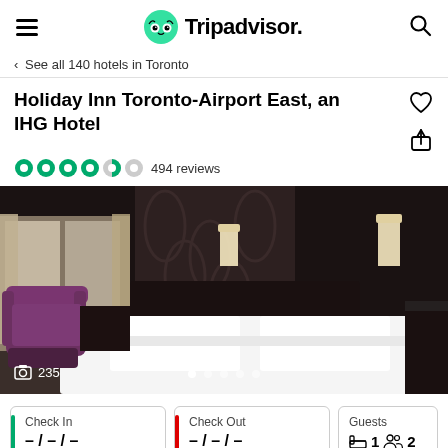Tripadvisor
< See all 140 hotels in Toronto
Holiday Inn Toronto-Airport East, an IHG Hotel
494 reviews
[Figure (photo): Hotel room photo showing a large bed with white linens, dark headboard, wall sconces, and a purple armchair near window. Photo count: 235. Navigation dots at bottom.]
Check In – / – / –
Check Out – / – / –
Guests 1 room 2 people